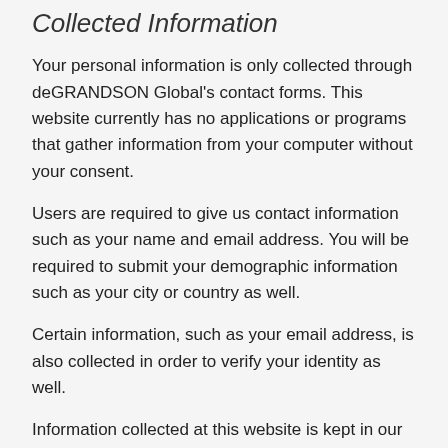Collected Information
Your personal information is only collected through deGRANDSON Global's contact forms. This website currently has no applications or programs that gather information from your computer without your consent.
Users are required to give us contact information such as your name and email address. You will be required to submit your demographic information such as your city or country as well.
Certain information, such as your email address, is also collected in order to verify your identity as well.
Information collected at this website is kept in our records only as long as is necessary to provide requested services to our clients.
Summary